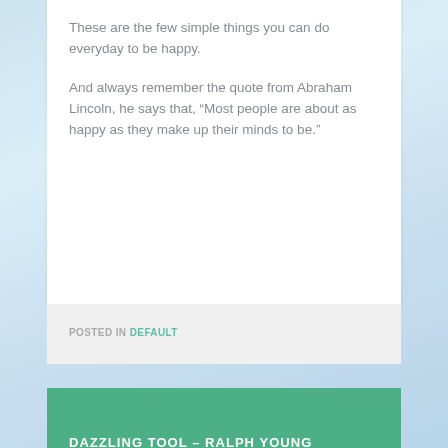These are the few simple things you can do everyday to be happy.
And always remember the quote from Abraham Lincoln, he says that, “Most people are about as happy as they make up their minds to be.”
POSTED IN DEFAULT
DAZZLING TOOL – RALPH YOUNG